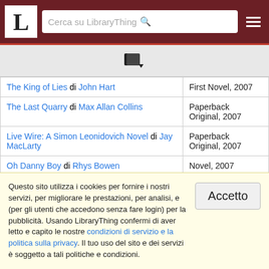LibraryThing - Cerca su LibraryThing
| Book | Category/Year |
| --- | --- |
| The King of Lies di John Hart | First Novel, 2007 |
| The Last Quarry di Max Allan Collins | Paperback Original, 2007 |
| Live Wire: A Simon Leonidovich Novel di Jay MacLarty | Paperback Original, 2007 |
| Oh Danny Boy di Rhys Bowen | Novel, 2007 |
| Red Sky Lament di Edward Wright | British Crime |
Questo sito utilizza i cookies per fornire i nostri servizi, per migliorare le prestazioni, per analisi, e (per gli utenti che accedono senza fare login) per la pubblicità. Usando LibraryThing confermi di aver letto e capito le nostre condizioni di servizio e la politica sulla privacy. Il tuo uso del sito e dei servizi è soggetto a tali politiche e condizioni.